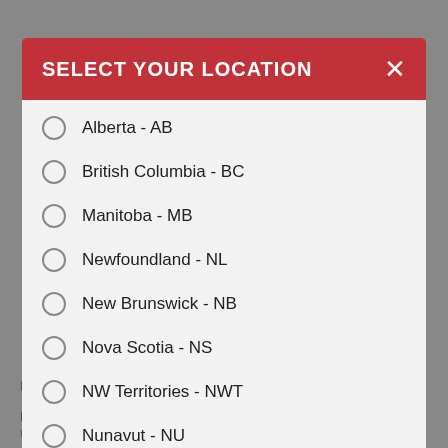SELECT YOUR LOCATION
Alberta - AB
British Columbia - BC
Manitoba - MB
Newfoundland - NL
New Brunswick - NB
Nova Scotia - NS
NW Territories - NWT
Nunavut - NU